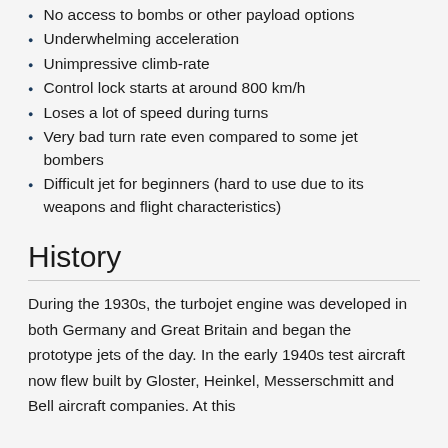No access to bombs or other payload options
Underwhelming acceleration
Unimpressive climb-rate
Control lock starts at around 800 km/h
Loses a lot of speed during turns
Very bad turn rate even compared to some jet bombers
Difficult jet for beginners (hard to use due to its weapons and flight characteristics)
History
During the 1930s, the turbojet engine was developed in both Germany and Great Britain and began the prototype jets of the day. In the early 1940s test aircraft now flew built by Gloster, Heinkel, Messerschmitt and Bell aircraft companies. At this